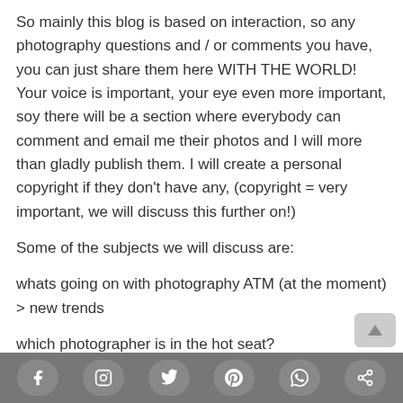So mainly this blog is based on interaction, so any photography questions and / or comments you have, you can just share them here WITH THE WORLD! Your voice is important, your eye even more important, soy there will be a section where everybody can comment and email me their photos and I will more than gladly publish them. I will create a personal copyright if they don't have any, (copyright = very important, we will discuss this further on!)
Some of the subjects we will discuss are:
whats going on with photography ATM (at the moment) > new trends
which photographer is in the hot seat?
[Figure (other): Bottom social media sharing bar with icons for Facebook, Instagram, Twitter, Pinterest, WhatsApp, and a share icon. Also a scroll-to-top button in the bottom right.]